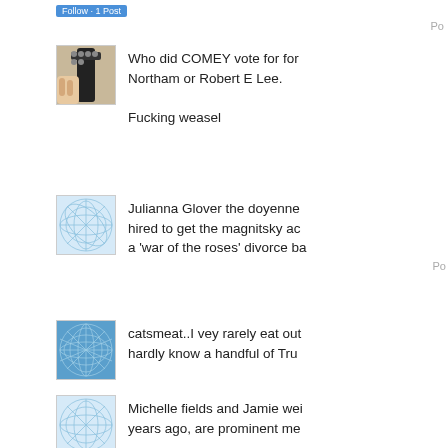[Figure (photo): Small profile avatar showing a guitar headstock held by a hand, partial view, dark guitar against white background]
Who did COMEY vote for for Northam or Robert E Lee.

Fucking weasel
[Figure (illustration): Blue and white geometric web/grid pattern avatar icon]
Julianna Glover the doyenne hired to get the magnitsky ac a 'war of the roses' divorce ba
Po
[Figure (illustration): Blue geometric sphere/grid pattern avatar icon]
catsmeat..I vey rarely eat out hardly know a handful of Tru
[Figure (illustration): Blue and white geometric web/grid pattern avatar icon]
Michelle fields and Jamie wei years ago, are prominent me
Po